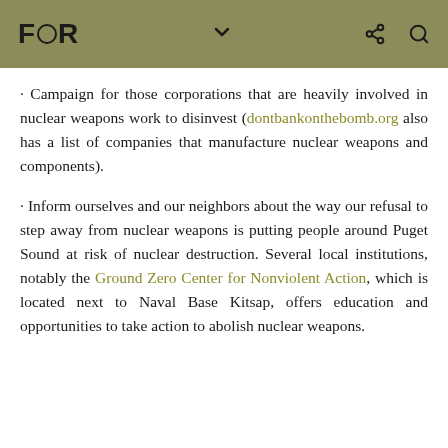FOR
· Campaign for those corporations that are heavily involved in nuclear weapons work to disinvest (dontbankonthebomb.org also has a list of companies that manufacture nuclear weapons and components).
· Inform ourselves and our neighbors about the way our refusal to step away from nuclear weapons is putting people around Puget Sound at risk of nuclear destruction. Several local institutions, notably the Ground Zero Center for Nonviolent Action, which is located next to Naval Base Kitsap, offers education and opportunities to take action to abolish nuclear weapons.